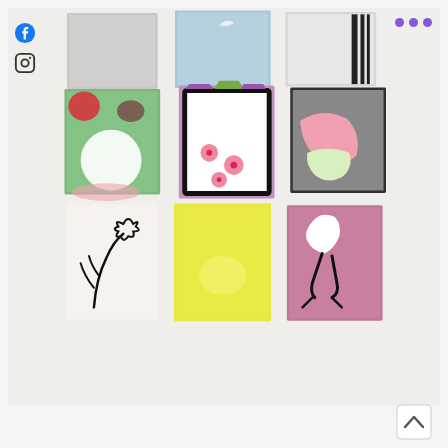[Figure (photo): A photograph of a wall display showing 9 small handmade paper artworks arranged in a 3x3 grid. Top row: gray textured paper, light blue paper, white/gray paper with black vertical stripes. Middle row: green paper with red circle and white circle and brown shape, white paper with black border and pink flowers on white background with pink/purple top, gray paper with pink and light green shape. Bottom row: white paper with black line-drawn figures of plants/stars, yellow paper with light oval shape, pink/mauve paper with white abstract figure.]
[Figure (logo): Facebook icon (circle with f) and Instagram icon (square camera outline) stacked vertically on left side]
[Figure (other): Three purple dots (more/menu indicator) in top right corner]
[Figure (other): Back to top chevron arrow icon in bottom right corner]